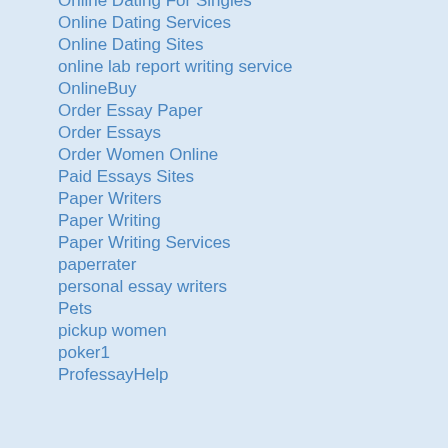Online Dating For Singles
Online Dating Services
Online Dating Sites
online lab report writing service
OnlineBuy
Order Essay Paper
Order Essays
Order Women Online
Paid Essays Sites
Paper Writers
Paper Writing
Paper Writing Services
paperrater
personal essay writers
Pets
pickup women
poker1
ProfessayHelp